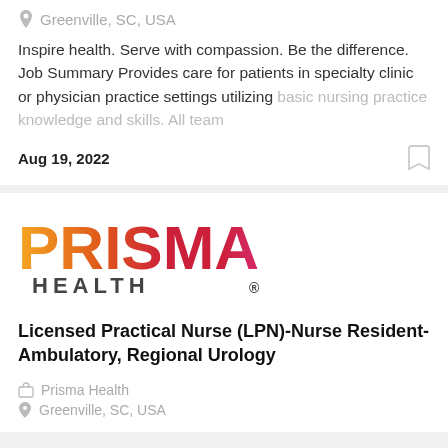Greenville, SC, USA
Inspire health. Serve with compassion. Be the difference. Job Summary Provides care for patients in specialty clinic or physician practice settings utilizing basic nursing practice knowledge and skills. All team
Aug 19, 2022
[Figure (logo): Prisma Health logo with colorful text: PRISMA in orange-to-red gradient, HEALTH in dark gray]
Licensed Practical Nurse (LPN)-Nurse Resident-Ambulatory, Regional Urology
Prisma Health
Greenville, SC, USA